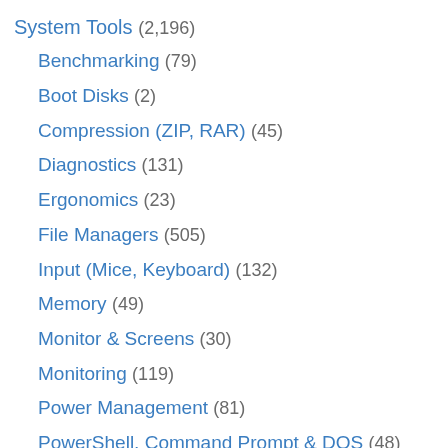System Tools (2,196)
Benchmarking (79)
Boot Disks (2)
Compression (ZIP, RAR) (45)
Diagnostics (131)
Ergonomics (23)
File Managers (505)
Input (Mice, Keyboard) (132)
Memory (49)
Monitor & Screens (30)
Monitoring (119)
Power Management (81)
PowerShell, Command Prompt & DOS (48)
Process & Services (115)